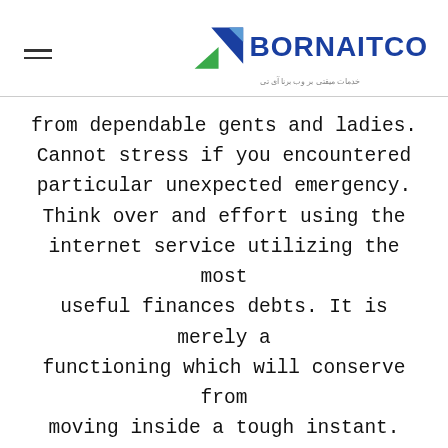BORNAITCO – خدمات میقتی بر وب برنا آی تی
from dependable gents and ladies. Cannot stress if you encountered particular unexpected emergency. Think over and effort using the internet service utilizing the most useful finances debts. It is merely a functioning which will conserve from moving inside a tough instant. You do not has even to depart your home
The very first problem definitely biggest have to know are creditors need to have their own